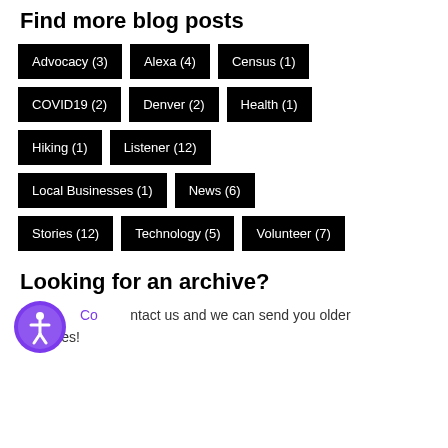Find more blog posts
Advocacy (3)
Alexa (4)
Census (1)
COVID19 (2)
Denver (2)
Health (1)
Hiking (1)
Listener (12)
Local Businesses (1)
News (6)
Stories (12)
Technology (5)
Volunteer (7)
Looking for an archive?
Contact us and we can send you older episodes!